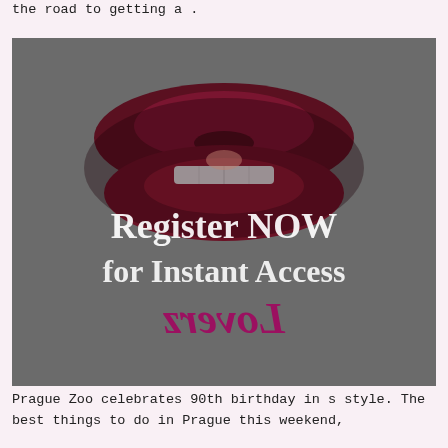the road to getting a .
[Figure (photo): Advertisement image with dark grey background, featuring a pair of dark red lips at the top and white text reading 'Register NOW for Instant Access' overlaid in the center, with a mirrored/backwards magenta handwritten signature 'Loverz' at the bottom.]
Prague Zoo celebrates 90th birthday in s style. The best things to do in Prague this weekend,